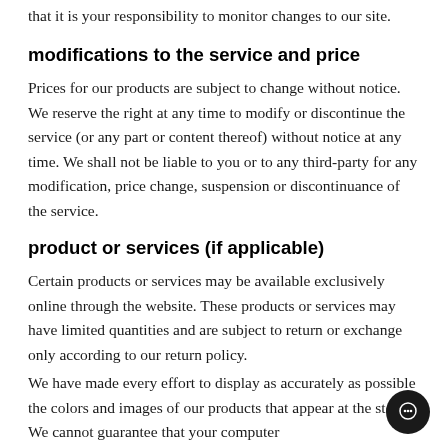that it is your responsibility to monitor changes to our site.
modifications to the service and price
Prices for our products are subject to change without notice. We reserve the right at any time to modify or discontinue the service (or any part or content thereof) without notice at any time. We shall not be liable to you or to any third-party for any modification, price change, suspension or discontinuance of the service.
product or services (if applicable)
Certain products or services may be available exclusively online through the website. These products or services may have limited quantities and are subject to return or exchange only according to our return policy.
We have made every effort to display as accurately as possible the colors and images of our products that appear at the store. We cannot guarantee that your computer monitor's display of any color will be accurate.